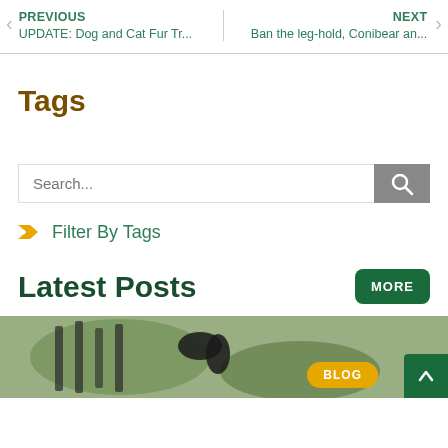PREVIOUS | UPDATE: Dog and Cat Fur Tr... | NEXT | Ban the leg-hold, Conibear an...
Tags
Search...
Filter By Tags
Latest Posts
MORE
[Figure (photo): Photo of an animal near a fence or enclosure, partially visible at the bottom of the page. A BLOG badge is overlaid.]